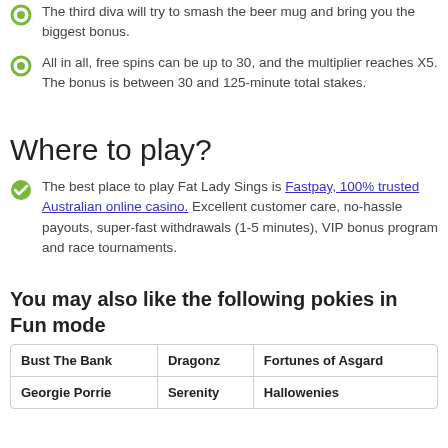The third diva will try to smash the beer mug and bring you the biggest bonus.
All in all, free spins can be up to 30, and the multiplier reaches X5. The bonus is between 30 and 125-minute total stakes.
Where to play?
The best place to play Fat Lady Sings is Fastpay, 100% trusted Australian online casino. Excellent customer care, no-hassle payouts, super-fast withdrawals (1-5 minutes), VIP bonus program and race tournaments.
You may also like the following pokies in Fun mode
| Bust The Bank | Dragonz | Fortunes of Asgard |
| Georgie Porrie | Serenity | Hallowenies |